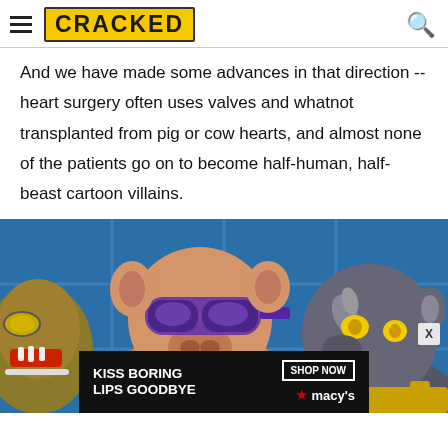CRACKED
And we have made some advances in that direction -- heart surgery often uses valves and whatnot transplanted from pig or cow hearts, and almost none of the patients go on to become half-human, half-beast cartoon villains.
[Figure (illustration): Cartoon illustration showing half-human, half-beast characters from a children's cartoon — a pig-man with purple goggles and a rhinoceros-man — against a blue tiled background, with a model posing for a Macy's lip product advertisement banner at the bottom.]